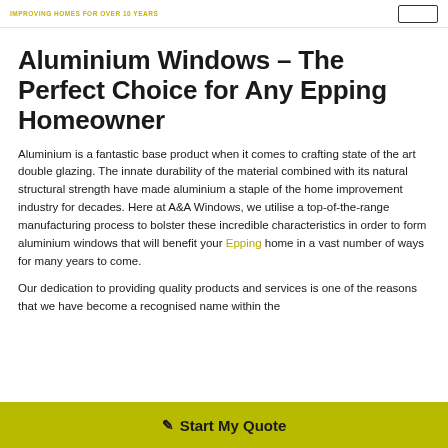IMPROVING HOMES FOR OVER 10 YEARS
Aluminium Windows – The Perfect Choice for Any Epping Homeowner
Aluminium is a fantastic base product when it comes to crafting state of the art double glazing. The innate durability of the material combined with its natural structural strength have made aluminium a staple of the home improvement industry for decades. Here at A&A Windows, we utilise a top-of-the-range manufacturing process to bolster these incredible characteristics in order to form aluminium windows that will benefit your Epping home in a vast number of ways for many years to come.
Our dedication to providing quality products and services is one of the reasons that we have become a recognised name within the
Start My Quote